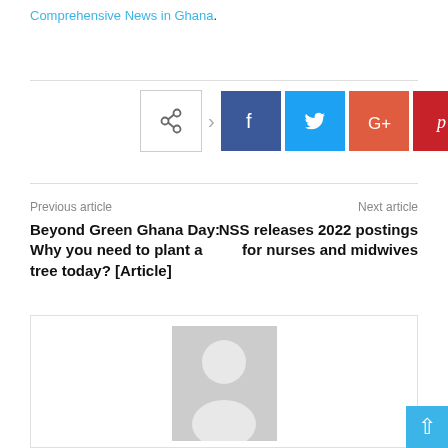Comprehensive News in Ghana.
[Figure (other): Social share bar with share icon, Facebook, Twitter, Google+, Pinterest, and WhatsApp buttons]
Previous article
Next article
Beyond Green Ghana Day: Why you need to plant a tree today? [Article]
NSS releases 2022 postings for nurses and midwives
[Figure (photo): Author avatar placeholder with grey silhouette figure on grey background]